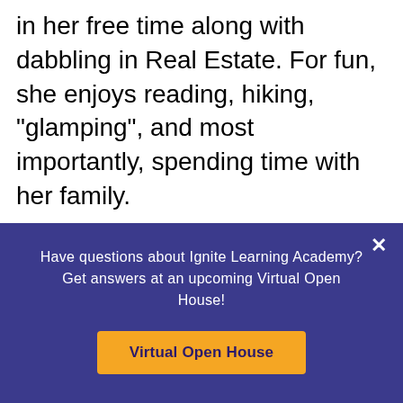in her free time along with dabbling in Real Estate. For fun, she enjoys reading, hiking, "glamping", and most importantly, spending time with her family.

Fun Fact: On a family trip to Glacier National Park, Mrs. Balog nearly ran into a Grizzly bear and her cubs on a hiking trail. Fortunately, she was able to get away safely, but that was one of the
Have questions about Ignite Learning Academy? Get answers at an upcoming Virtual Open House!
Virtual Open House